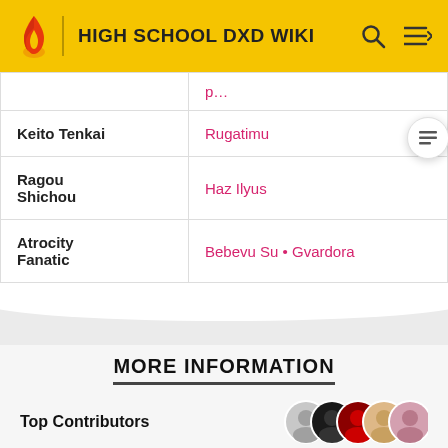HIGH SCHOOL DXD WIKI
| Character | User |
| --- | --- |
|  |  |
| Keito Tenkai | Rugatimu |
| Ragou Shichou | Haz Ilyus |
| Atrocity Fanatic | Bebevu Su • Gvardora |
MORE INFORMATION
Top Contributors
Categories
Community content is available under CC-BY-SA unless